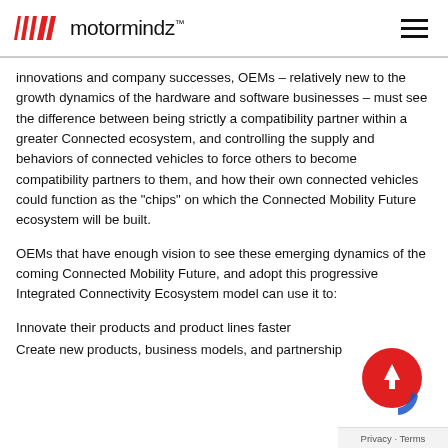motormindz
innovations and company successes, OEMs – relatively new to the growth dynamics of the hardware and software businesses – must see the difference between being strictly a compatibility partner within a greater Connected ecosystem, and controlling the supply and behaviors of connected vehicles to force others to become compatibility partners to them, and how their own connected vehicles could function as the "chips" on which the Connected Mobility Future ecosystem will be built.
OEMs that have enough vision to see these emerging dynamics of the coming Connected Mobility Future, and adopt this progressive Integrated Connectivity Ecosystem model can use it to:
Innovate their products and product lines faster
Create new products, business models, and partnership